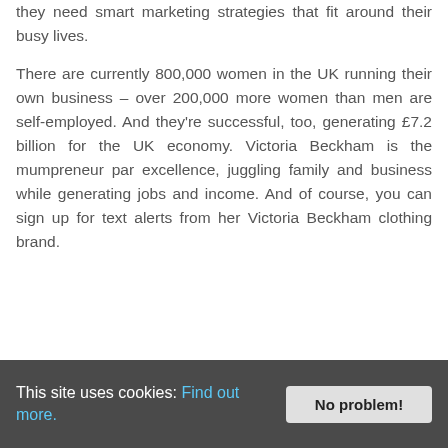they need smart marketing strategies that fit around their busy lives.

There are currently 800,000 women in the UK running their own business – over 200,000 more women than men are self-employed. And they're successful, too, generating £7.2 billion for the UK economy. Victoria Beckham is the mumpreneur par excellence, juggling family and business while generating jobs and income. And of course, you can sign up for text alerts from her Victoria Beckham clothing brand.
This site uses cookies: Find out more.